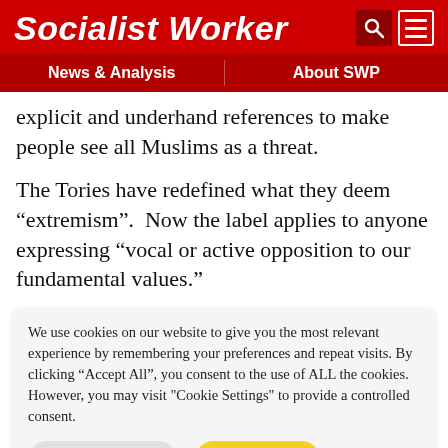Socialist Worker
News & Analysis | About SWP
explicit and underhand references to make people see all Muslims as a threat.
The Tories have redefined what they deem “extremism”.  Now the label applies to anyone expressing “vocal or active opposition to our fundamental values.”
We use cookies on our website to give you the most relevant experience by remembering your preferences and repeat visits. By clicking “Accept All”, you consent to the use of ALL the cookies. However, you may visit "Cookie Settings" to provide a controlled consent.
Cookie Settings | Accept All